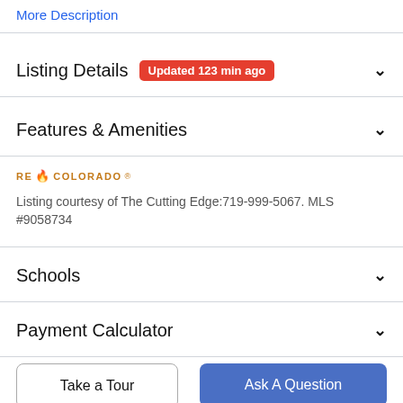More Description
Listing Details  Updated 123 min ago
Features & Amenities
[Figure (logo): RE/Colorado logo with flame icon]
Listing courtesy of The Cutting Edge:719-999-5067. MLS #9058734
Schools
Payment Calculator
Take a Tour
Ask A Question